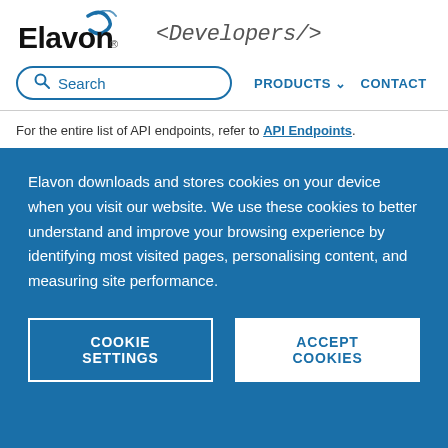[Figure (logo): Elavon Developers logo with search bar and navigation links (PRODUCTS, CONTACT)]
For the entire list of API endpoints, refer to API Endpoints.
Elavon downloads and stores cookies on your device when you visit our website. We use these cookies to better understand and improve your browsing experience by identifying most visited pages, personalising content, and measuring site performance.
COOKIE SETTINGS    ACCEPT COOKIES